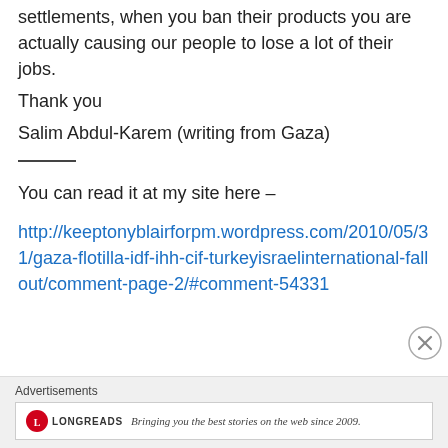settlements, when you ban their products you are actually causing our people to lose a lot of their jobs.
Thank you
Salim Abdul-Karem (writing from Gaza)
You can read it at my site here –
http://keeptonyblairforpm.wordpress.com/2010/05/31/gaza-flotilla-idf-ihh-cif-turkeyisraelinternational-fallout/comment-page-2/#comment-54331
Advertisements
Bringing you the best stories on the web since 2009.